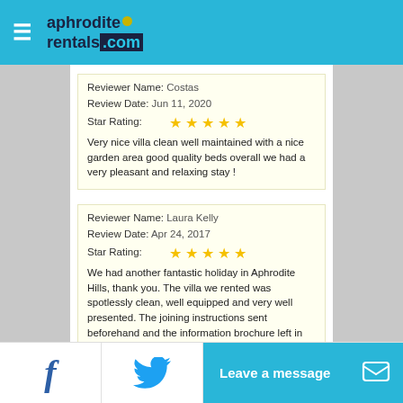aphrodite rentals .com
Reviewer Name: Costas
Review Date: Jun 11, 2020
Star Rating: ★★★★★
Very nice villa clean well maintained with a nice garden area good quality beds overall we had a very pleasant and relaxing stay !
Reviewer Name: Laura Kelly
Review Date: Apr 24, 2017
Star Rating: ★★★★★
We had another fantastic holiday in Aphrodite Hills, thank you. The villa we rented was spotlessly clean, well equipped and very well presented. The joining instructions sent beforehand and the information brochure left in the villa, meant our holiday ran really smoothly. The heated pool was amazing - one of the warmest pools we've been in and meant we could use it even if the sun wasn't out that day. I'm pretty sure we will be back for another holiday!
Leave a message